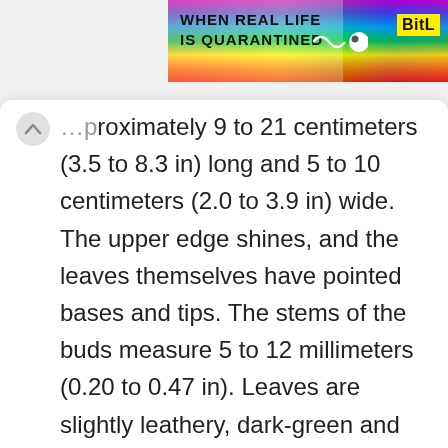[Figure (illustration): Colorful rainbow-striped banner with text 'WHEN REAL LIFE IS QUARANTINED' and 'BitL' logo label on the right, with a small sperm/tadpole icon.]
approximately 9 to 21 centimeters (3.5 to 8.3 in) long and 5 to 10 centimeters (2.0 to 3.9 in) wide. The upper edge shines, and the leaves themselves have pointed bases and tips. The stems of the buds measure 5 to 12 millimeters (0.20 to 0.47 in). Leaves are slightly leathery, dark-green and glossy on the upper surface, paler and dull beneath, and with prominent midrib.